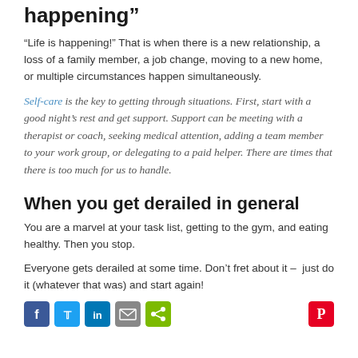happening”
“Life is happening!” That is when there is a new relationship, a loss of a family member, a job change, moving to a new home, or multiple circumstances happen simultaneously.
Self-care is the key to getting through situations. First, start with a good night’s rest and get support. Support can be meeting with a therapist or coach, seeking medical attention, adding a team member to your work group, or delegating to a paid helper. There are times that there is too much for us to handle.
When you get derailed in general
You are a marvel at your task list, getting to the gym, and eating healthy. Then you stop.
Everyone gets derailed at some time. Don’t fret about it – just do it (whatever that was) and start again!
[Figure (other): Social sharing icons: Facebook, Twitter, LinkedIn, Email, Share, Pinterest]